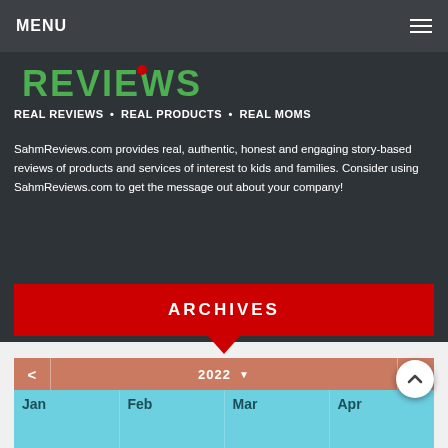MENU
[Figure (logo): SahmReviews logo with REVIEWS text in green and red dot]
REAL REVIEWS • REAL PRODUCTS • REAL MOMS
SahmReviews.com provides real, authentic, honest and engaging story-based reviews of products and services of interest to kids and families. Consider using SahmReviews.com to get the message out about your company!
ARCHIVES
| < | 2022 | ▼ | > |
| --- | --- | --- | --- |
| Jan | Feb | Mar | Apr |
| May | Jun | Jul | Aug |
| Sep | Oct | Nov | Dec |